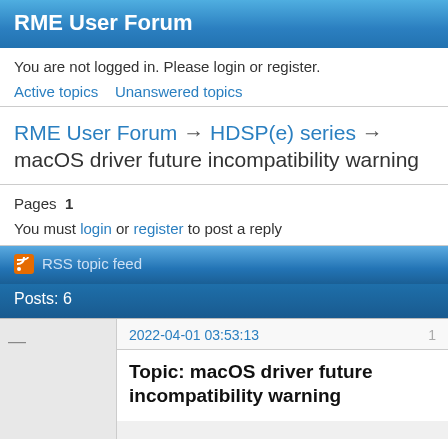RME User Forum
You are not logged in. Please login or register.
Active topics   Unanswered topics
RME User Forum → HDSP(e) series → macOS driver future incompatibility warning
Pages  1
You must login or register to post a reply
RSS topic feed
Posts: 6
2022-04-01 03:53:13
1
Topic: macOS driver future incompatibility warning